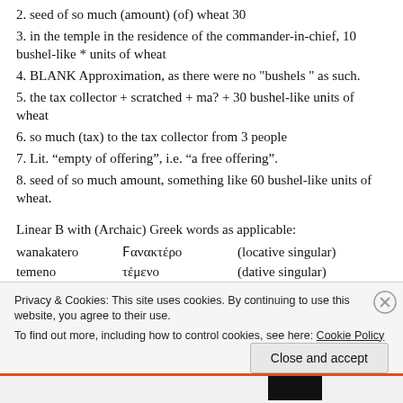2. seed of so much (amount) (of) wheat 30
3. in the temple in the residence of the commander-in-chief, 10 bushel-like * units of wheat
4. BLANK Approximation, as there were no "bushels" as such.
5. the tax collector + scratched + ma? + 30 bushel-like units of wheat
6. so much (tax) to the tax collector from 3 people
7. Lit. “empty of offering”, i.e. “a free offering”.
8. seed of so much amount, something like 60 bushel-like units of wheat.
Linear B with (Archaic) Greek words as applicable:
| Linear B | Greek | Case |
| --- | --- | --- |
| wanakatero | ϑανακτέρο | (locative singular) |
| temeno | τέμενο | (dative singular) |
| tosoyo | τόσοιο | (genitive singular) |
| pema | σπέρμα |  |
| rawakesiyo | λαϑαγέσιο | (locative singular) |
| teretao | τελεστάων |  |
Privacy & Cookies: This site uses cookies. By continuing to use this website, you agree to their use. To find out more, including how to control cookies, see here: Cookie Policy